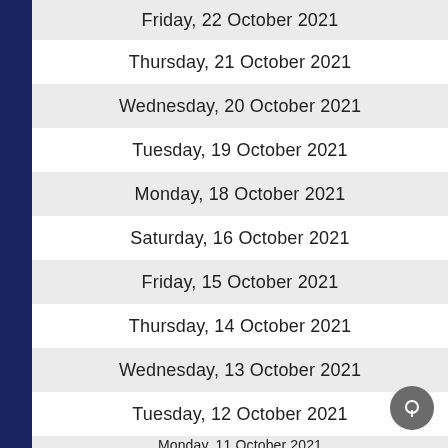Friday, 22 October 2021
Thursday, 21 October 2021
Wednesday, 20 October 2021
Tuesday, 19 October 2021
Monday, 18 October 2021
Saturday, 16 October 2021
Friday, 15 October 2021
Thursday, 14 October 2021
Wednesday, 13 October 2021
Tuesday, 12 October 2021
Monday, 11 October 2021